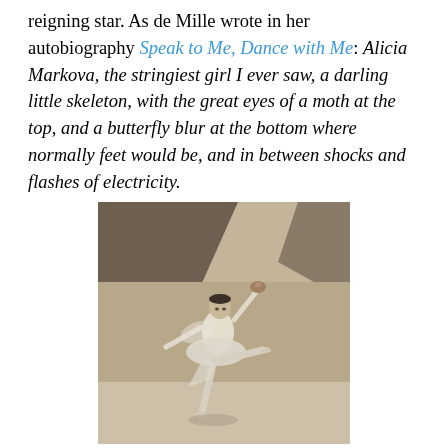reigning star. As de Mille wrote in her autobiography Speak to Me, Dance with Me: Alicia Markova, the stringiest girl I ever saw, a darling little skeleton, with the great eyes of a moth at the top, and a butterfly blur at the bottom where normally feet would be, and in between shocks and flashes of electricity.
[Figure (photo): Black and white / sepia photograph of a ballet dancer (Alicia Markova) in a white costume, posed dynamically with one leg raised and arms extended, holding a small ornamental piece overhead, against a shadowed studio background.]